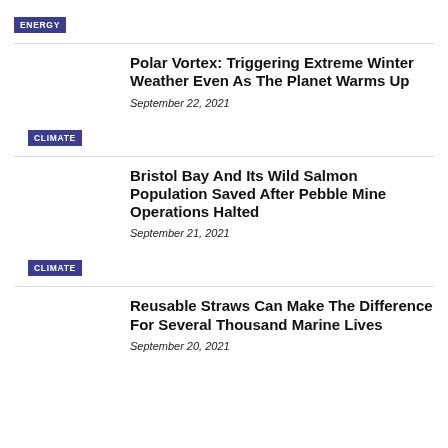ENERGY
Polar Vortex: Triggering Extreme Winter Weather Even As The Planet Warms Up
September 22, 2021
CLIMATE
Bristol Bay And Its Wild Salmon Population Saved After Pebble Mine Operations Halted
September 21, 2021
CLIMATE
Reusable Straws Can Make The Difference For Several Thousand Marine Lives
September 20, 2021